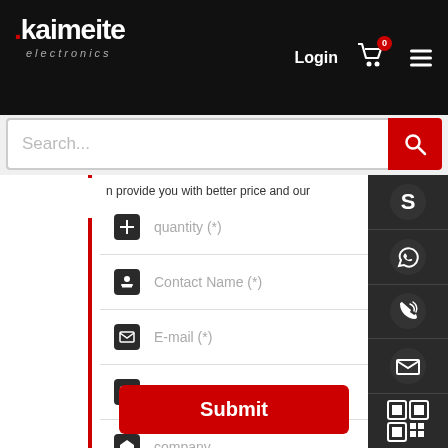[Figure (screenshot): Kaimeite electronics website header with logo, Login link, cart icon with badge showing 0, and hamburger menu on black background]
[Figure (screenshot): Search bar with placeholder text 'Search...' and red search button]
n provide you with better price and our inventory of quality parts timely.
quantity (*)
Contact Name (*)
E-mail (*)
tel(*)
company
remark
[Figure (screenshot): Submit button in red with white text]
[Figure (screenshot): Side panel with Skype, WhatsApp, phone, email, and QR code icons on dark background]